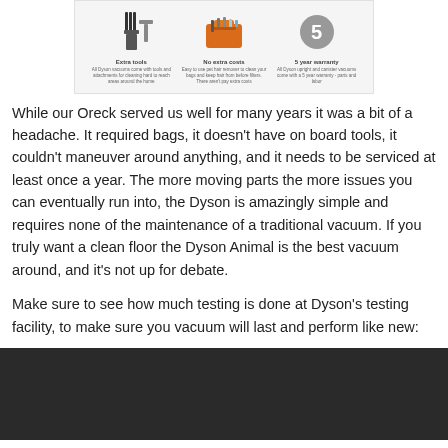[Figure (infographic): Product feature banner showing three icons: 'Extra tools', 'No extra costs', and '5 year warranty' with small descriptive text under each.]
While our Oreck served us well for many years it was a bit of a headache. It required bags, it doesn't have on board tools, it couldn't maneuver around anything, and it needs to be serviced at least once a year. The more moving parts the more issues you can eventually run into, the Dyson is amazingly simple and requires none of the maintenance of a traditional vacuum. If you truly want a clean floor the Dyson Animal is the best vacuum around, and it's not up for debate.
Make sure to see how much testing is done at Dyson's testing facility, to make sure you vacuum will last and perform like new:
[Figure (screenshot): Dark/black video embed block at the bottom of the page.]